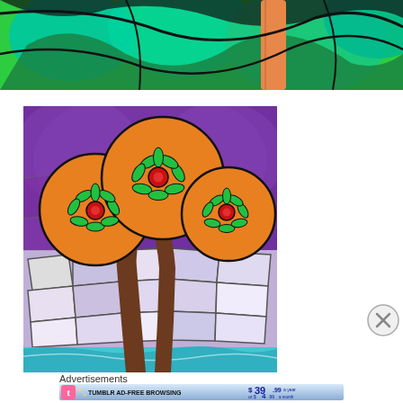[Figure (illustration): Colorful illustration showing trees with green and teal foliage and orange elements against a blue background, partial crop at top of page]
[Figure (illustration): Colorful stained-glass style illustration of an orange tree with three round flower-topped canopies containing red berry-like centers and green leaves, brown trunk, against a purple mosaic/stained-glass background with white and lavender tile-like sections and a blue water area at the bottom]
Advertisements
[Figure (other): Tumblr Ad-Free Browsing advertisement banner: $39.99 a year or $4.99 a month, with Tumblr logo (blue t on pink star background) and sparkle stars]